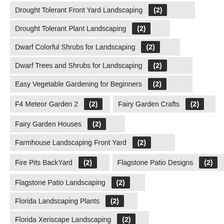Drought Tolerant Front Yard Landscaping (2)
Drought Tolerant Plant Landscaping (2)
Dwarf Colorful Shrubs for Landscaping (2)
Dwarf Trees and Shrubs for Landscaping (2)
Easy Vegetable Gardening for Beginners (2)
F4 Meteor Garden 2 (2)
Fairy Garden Crafts (2)
Fairy Garden Houses (2)
Farmhouse Landscaping Front Yard (2)
Fire Pits BackYard (2)
Flagstone Patio Designs (2)
Flagstone Patio Landscaping (2)
Florida Landscaping Plants (2)
Florida Xeriscape Landscaping (2)
Flower Bed Border Designs (2)